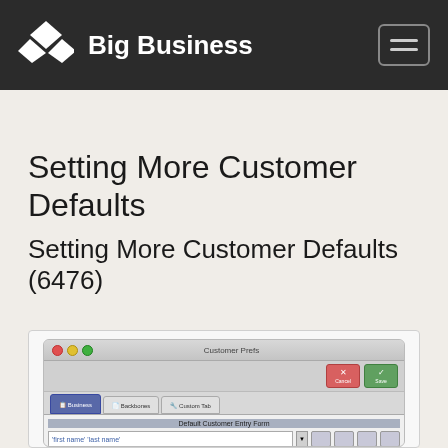Big Business
Setting More Customer Defaults
Setting More Customer Defaults (6476)
[Figure (screenshot): Screenshot of a Mac-style Customer Prefs dialog window showing tabs for Business, Backbones, and Custom Tab, with fields for Default Customer Entry Form including 'first name' 'last name', and a grid with Default Ship Code and Direct Fax Line columns.]